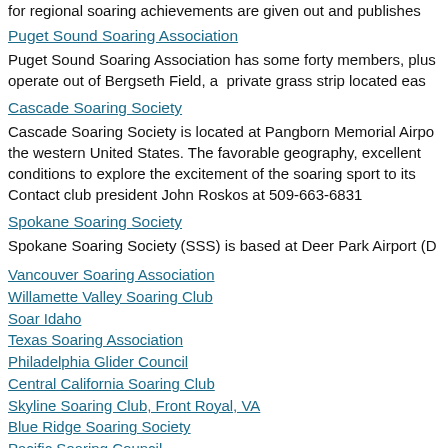for regional soaring achievements are given out and publishes
Puget Sound Soaring Association
Puget Sound Soaring Association has some forty members, plus operate out of Bergseth Field, a  private grass strip located eas
Cascade Soaring Society
Cascade Soaring Society is located at Pangborn Memorial Airpo the western United States. The favorable geography, excellent conditions to explore the excitement of the soaring sport to its Contact club president John Roskos at 509-663-6831
Spokane Soaring Society
Spokane Soaring Society (SSS) is based at Deer Park Airport (D
Vancouver Soaring Association
Willamette Valley Soaring Club
Soar Idaho
Texas Soaring Association
Philadelphia Glider Council
Central California Soaring Club
Skyline Soaring Club, Front Royal, VA
Blue Ridge Soaring Society
Pacific Soaring Council